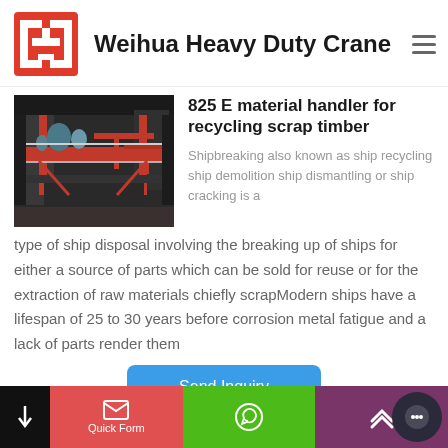[Figure (logo): Weihua Heavy Duty Crane logo — red square bracket crane symbol]
Weihua Heavy Duty Crane
[Figure (photo): Industrial overhead crane in a large factory/shipyard with red steel structure]
825 E material handler for recycling scrap timber
Shipbreaking also known as ship recycling ship demolition ship dismantling or ship cracking is a type of ship disposal involving the breaking up of ships for either a source of parts which can be sold for reuse or for the extraction of raw materials chiefly scrapModern ships have a lifespan of 25 to 30 years before corrosion metal fatigue and a lack of parts render them
[Figure (infographic): Footer navigation bar with Quick Form, WhatsApp, up-arrow, and chat button sections]